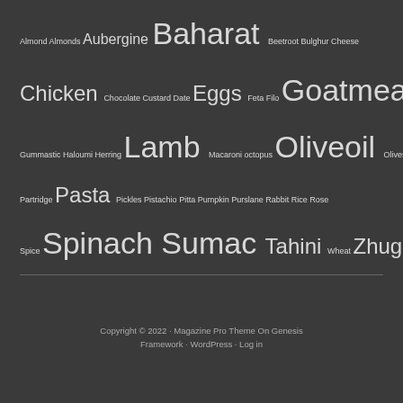Almond Almonds Aubergine Baharat Beetroot Bulghur Cheese Chicken Chocolate Custard Date Eggs Feta Filo Goatmeat Gummastic Haloumi Herring Lamb Macaroni octopus Oliveoil Olives Partridge Pasta Pickles Pistachio Pitta Pumpkin Purslane Rabbit Rice Rose Spice Spinach Sumac Tahini Wheat Zhug
Copyright © 2022 · Magazine Pro Theme On Genesis Framework · WordPress · Log in